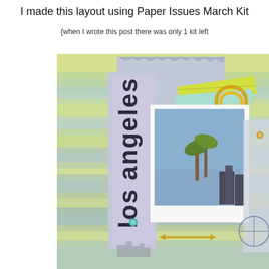I made this layout using Paper Issues March Kit
{when I wrote this post there was only 1 kit left
[Figure (photo): A scrapbook layout featuring a Los Angeles theme. The layout is on a striped background in yellow, green, and blue watercolor tones. It includes layered papers in lavender/purple hues, text reading 'los angeles' vertically in large bold letters, a Polaroid-style photo of palm trees and a city skyline, a yellow paper clip embellishment, a gold arrow decoration, and various other scrapbooking elements including compass and cityscape stamps.]